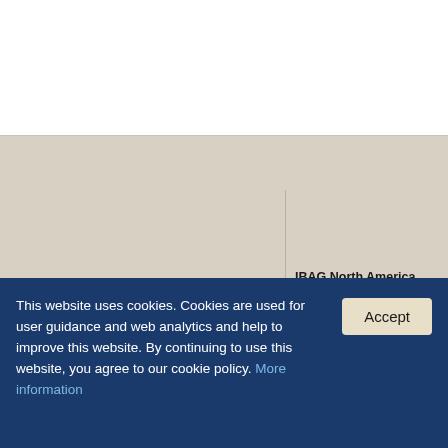IBAG North America
Div. of Burmco, Inc.
80, Republic Drive
North Haven, CT 0
This website uses cookies. Cookies are used for user guidance and web analytics and help to improve this website. By continuing to use this website, you agree to our cookie policy. More information